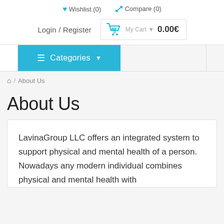Wishlist (0)   Compare (0)
Login / Register   My Cart ▼   0   0.00€
≡ Categories ▼
🏠 / About Us
About Us
LavinaGroup LLC offers an integrated system to support physical and mental health of a person. Nowadays any modern individual combines physical and mental health with